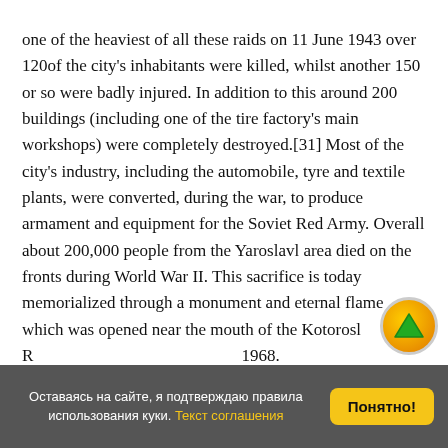one of the heaviest of all these raids on 11 June 1943 over 120of the city's inhabitants were killed, whilst another 150 or so were badly injured. In addition to this around 200 buildings (including one of the tire factory's main workshops) were completely destroyed.[31] Most of the city's industry, including the automobile, tyre and textile plants, were converted, during the war, to produce armament and equipment for the Soviet Red Army. Overall about 200,000 people from the Yaroslavl area died on the fronts during World War II. This sacrifice is today memorialized through a monument and eternal flame which was opened near the mouth of the Kotorosl R 1968.
[Figure (other): Orange circular scroll-to-top button with a green upward arrow in the center, positioned at lower right of main content area]
Оставаясь на сайте, я подтверждаю правила использования куки. Текст соглашения